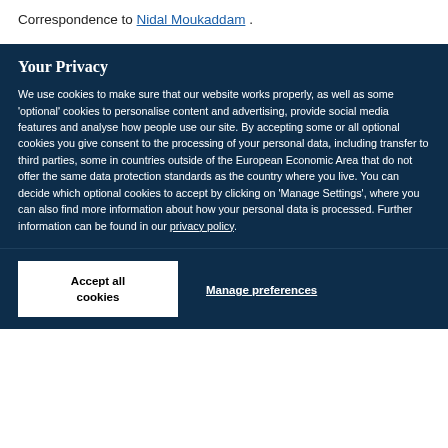Correspondence to Nidal Moukaddam .
Your Privacy
We use cookies to make sure that our website works properly, as well as some 'optional' cookies to personalise content and advertising, provide social media features and analyse how people use our site. By accepting some or all optional cookies you give consent to the processing of your personal data, including transfer to third parties, some in countries outside of the European Economic Area that do not offer the same data protection standards as the country where you live. You can decide which optional cookies to accept by clicking on 'Manage Settings', where you can also find more information about how your personal data is processed. Further information can be found in our privacy policy.
Accept all cookies
Manage preferences